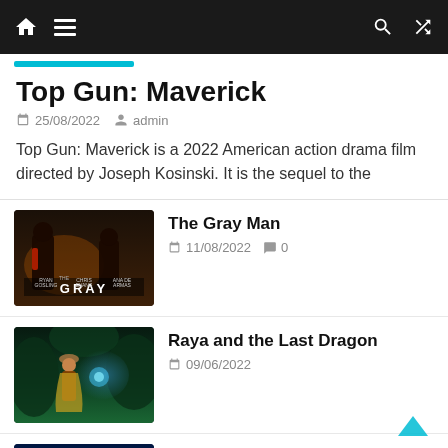Navigation bar with home, menu, search, and shuffle icons
Top Gun: Maverick
25/08/2022   admin
Top Gun: Maverick is a 2022 American action drama film directed by Joseph Kosinski. It is the sequel to the
[Figure (photo): Movie poster for The Gray Man showing dark figures with text 'THE GRAY MAN' at bottom]
The Gray Man
11/08/2022  0
[Figure (photo): Movie poster for Raya and the Last Dragon showing an animated female warrior in a lush forest]
Raya and the Last Dragon
09/06/2022
[Figure (photo): Movie poster for Uncharted showing characters]
Uncharted